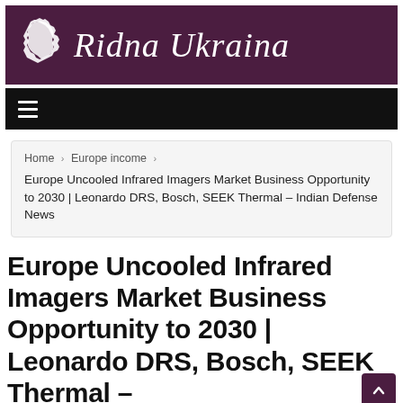Ridna Ukraina
[Figure (logo): Ridna Ukraina website logo with purple background, white map of Europe silhouette and italic serif text 'Ridna Ukraina']
Navigation menu (hamburger icon)
Home > Europe income > Europe Uncooled Infrared Imagers Market Business Opportunity to 2030 | Leonardo DRS, Bosch, SEEK Thermal – Indian Defense News
Europe Uncooled Infrared Imagers Market Business Opportunity to 2030 | Leonardo DRS, Bosch, SEEK Thermal –